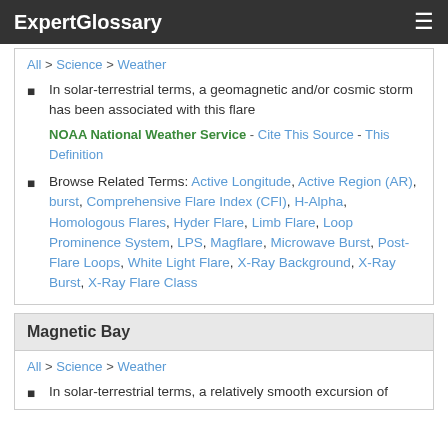ExpertGlossary
All > Science > Weather
In solar-terrestrial terms, a geomagnetic and/or cosmic storm has been associated with this flare
NOAA National Weather Service - Cite This Source - This Definition
Browse Related Terms: Active Longitude, Active Region (AR), burst, Comprehensive Flare Index (CFI), H-Alpha, Homologous Flares, Hyder Flare, Limb Flare, Loop Prominence System, LPS, Magflare, Microwave Burst, Post-Flare Loops, White Light Flare, X-Ray Background, X-Ray Burst, X-Ray Flare Class
Magnetic Bay
All > Science > Weather
In solar-terrestrial terms, a relatively smooth excursion of